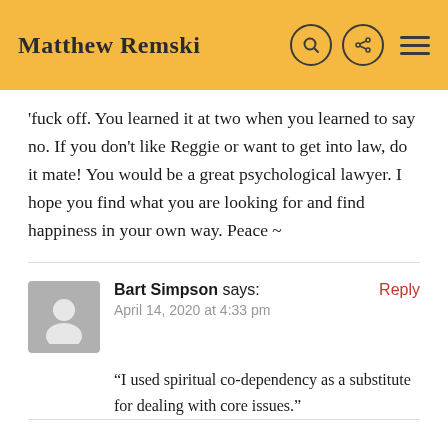Matthew Remski
'fuck off. You learned it at two when you learned to say no. If you don't like Reggie or want to get into law, do it mate! You would be a great psychological lawyer. I hope you find what you are looking for and find happiness in your own way. Peace ~
Bart Simpson says: April 14, 2020 at 4:33 pm — Reply
“I used spiritual co-dependency as a substitute for dealing with core issues.”